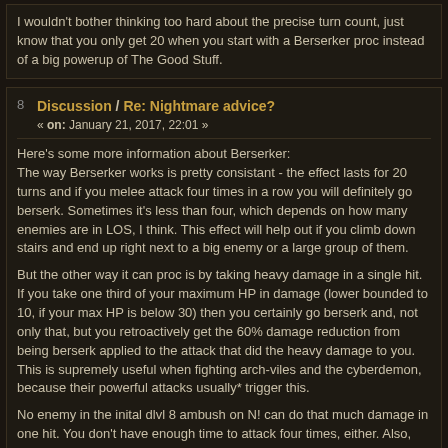I wouldn't bother thinking too hard about the precise turn count, just know that you only get 20 when you start with a Berserker proc instead of a big powerup of The Good Stuff.
Discussion / Re: Nightmare advice? « on: January 21, 2017, 22:01 »
Here's some more information about Berserker: The way Berserker works is pretty consistant - the effect lasts for 20 turns and if you melee attack four times in a row you will definitely go berserk. Sometimes it's less than four, which depends on how many enemies are in LOS, I think. This effect will help out if you climb down stairs and end up right next to a big enemy or a large group of them.
But the other way it can proc is by taking heavy damage in a single hit. If you take one third of your maximum HP in damage (lower bounded to 10, if your max HP is below 30) then you certainly go berserk and, not only that, but you retroactively get the 60% damage reduction from being berserk applied to the attack that did the heavy damage to you. This is supremely useful when fighting arch-viles and the cyberdemon, because their powerful attacks usually* trigger this.
No enemy in the inital dlvl 8 ambush on N! can do that much damage in one hit. You don't have enough time to attack four times, either. Also, that fight's dangerous as heck even if you are already berserk! You have to find a way to run through it - I try to keep the very long berserk effect from CC going all the way to dlvl 8 to help out with that.